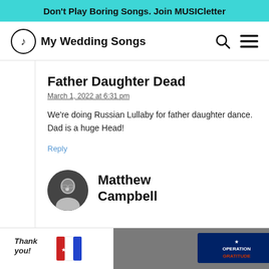Don't Play Boring Songs. Join MUSICletter
[Figure (logo): My Wedding Songs site logo with musical note circle icon and site name]
Father Daughter Dead
March 1, 2022 at 6:31 pm
We’re doing Russian Lullaby for father daughter dance. Dad is a huge Head!
Reply
Matthew Campbell
[Figure (photo): Operation Gratitude advertisement banner with thank you text, military imagery, and logo]